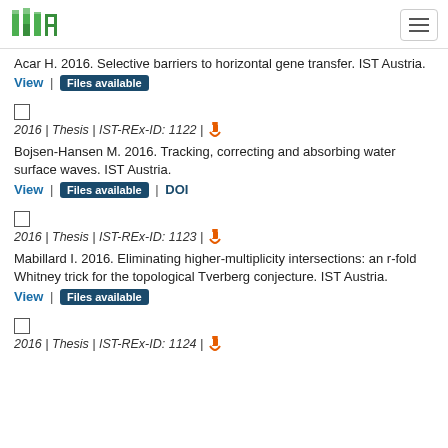ISTA logo and navigation
Acar H. 2016. Selective barriers to horizontal gene transfer. IST Austria.
View | Files available
2016 | Thesis | IST-REx-ID: 1122 | [open access icon]
Bojsen-Hansen M. 2016. Tracking, correcting and absorbing water surface waves. IST Austria.
View | Files available | DOI
2016 | Thesis | IST-REx-ID: 1123 | [open access icon]
Mabillard I. 2016. Eliminating higher-multiplicity intersections: an r-fold Whitney trick for the topological Tverberg conjecture. IST Austria.
View | Files available
2016 | Thesis | IST-REx-ID: 1124 | [open access icon]